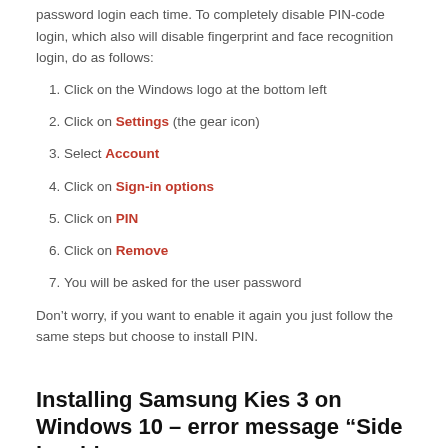password login each time. To completely disable PIN-code login, which also will disable fingerprint and face recognition login, do as follows:
1. Click on the Windows logo at the bottom left
2. Click on Settings (the gear icon)
3. Select Account
4. Click on Sign-in options
5. Click on PIN
6. Click on Remove
7. You will be asked for the user password
Don’t worry, if you want to enable it again you just follow the same steps but choose to install PIN.
Installing Samsung Kies 3 on Windows 10 – error message “Side by side